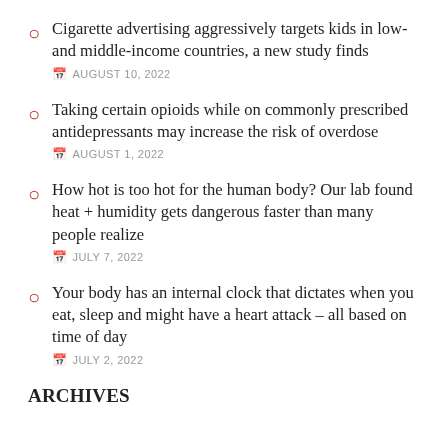Cigarette advertising aggressively targets kids in low- and middle-income countries, a new study finds
Taking certain opioids while on commonly prescribed antidepressants may increase the risk of overdose
How hot is too hot for the human body? Our lab found heat + humidity gets dangerous faster than many people realize
Your body has an internal clock that dictates when you eat, sleep and might have a heart attack – all based on time of day
ARCHIVES